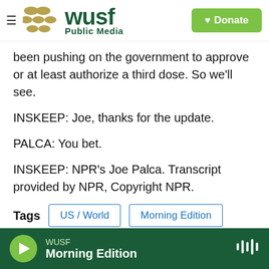[Figure (logo): WUSF Public Media logo with hamburger menu and green Donate button]
been pushing on the government to approve or at least authorize a third dose. So we'll see.
INSKEEP: Joe, thanks for the update.
PALCA: You bet.
INSKEEP: NPR's Joe Palca. Transcript provided by NPR, Copyright NPR.
Tags  US / World  Morning Edition
[Figure (screenshot): Social sharing icons: Facebook, Twitter, LinkedIn, Email]
WUSF Morning Edition